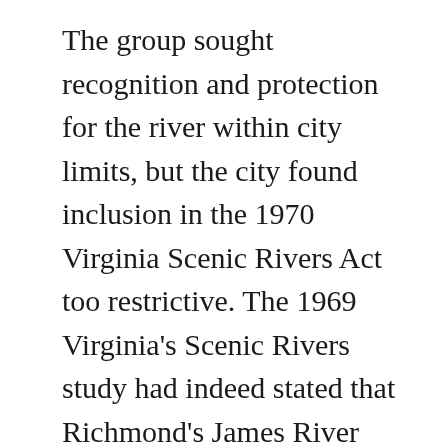The group sought recognition and protection for the river within city limits, but the city found inclusion in the 1970 Virginia Scenic Rivers Act too restrictive. The 1969 Virginia's Scenic Rivers study had indeed stated that Richmond's James River was a special case due to the complexities of its urban character, so city manager Alan Kiepper drafted a separate act amenable to both the city and the Scenic James Council and submitted it to the General Assembly. In 1972, the Historic and Scenic Falls of the James Act